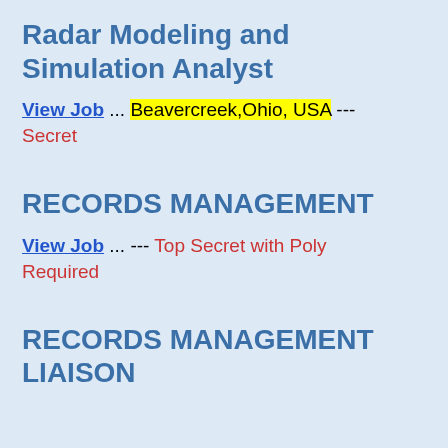Radar Modeling and Simulation Analyst
View Job ... Beavercreek,Ohio, USA --- Secret
RECORDS MANAGEMENT
View Job ... --- Top Secret with Poly Required
RECORDS MANAGEMENT LIAISON